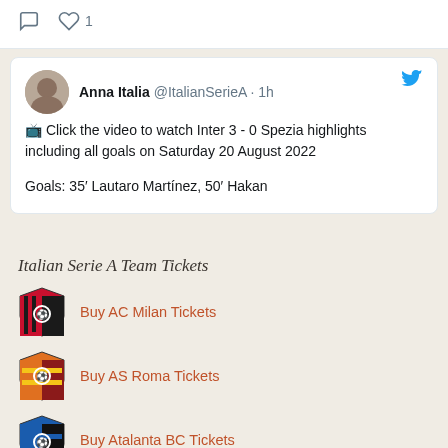[Figure (screenshot): Top of a Twitter card showing comment and heart icons with count of 1 like]
Anna Italia @ItalianSerieA · 1h
📺 Click the video to watch Inter 3 - 0 Spezia highlights including all goals on Saturday 20 August 2022

Goals: 35' Lautaro Martínez, 50' Hakan
Italian Serie A Team Tickets
Buy AC Milan Tickets
Buy AS Roma Tickets
Buy Atalanta BC Tickets